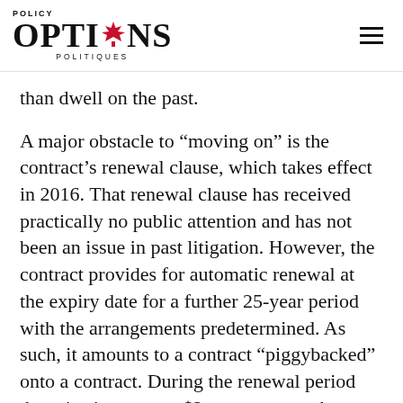POLICY OPTIONS POLITIQUES
than dwell on the past.
A major obstacle to “moving on” is the contract’s renewal clause, which takes effect in 2016. That renewal clause has received practically no public attention and has not been an issue in past litigation. However, the contract provides for automatic renewal at the expiry date for a further 25-year period with the arrangements predetermined. As such, it amounts to a contract “piggybacked” onto a contract. During the renewal period the price is preset at $2 per megawatt hour